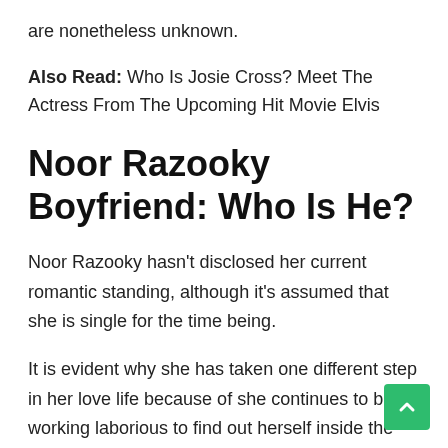are nonetheless unknown.
Also Read: Who Is Josie Cross? Meet The Actress From The Upcoming Hit Movie Elvis
Noor Razooky Boyfriend: Who Is He?
Noor Razooky hasn't disclosed her current romantic standing, although it's assumed that she is single for the time being.
It is evident why she has taken one different step in her love life because of she continues to be working laborious to find out herself inside the film commerce. The